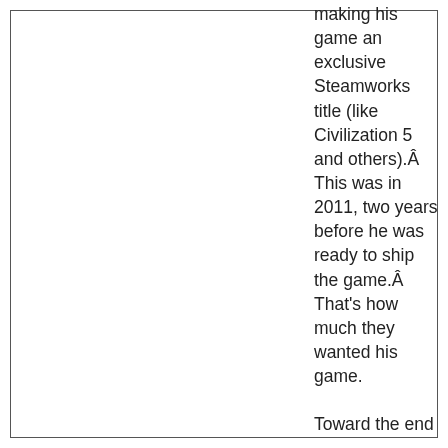making his game an exclusive Steamworks title (like Civilization 5 and others).Â This was in 2011, two years before he was ready to ship the game.Â That's how much they wanted his game.

Toward the end